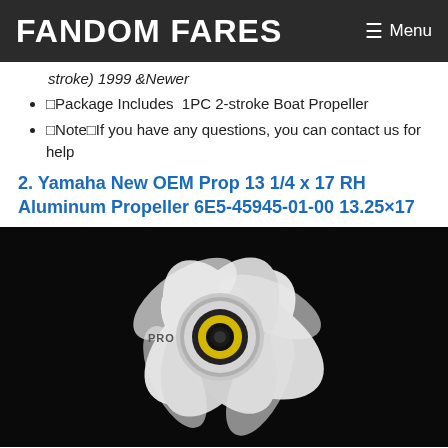FANDOM FARES  ☰ Menu
stroke) 1999 &Newer
⬜Package Includes  1PC 2-stroke Boat Propeller
⬜Note⬜If you have any questions, you can contact us for help
2. Yamaha New OEM Prop 13 1/4 x 17 RH Aluminum Propeller 6E5-45945-01-00 13.25×17
[Figure (photo): White aluminum boat propeller with 4 blades photographed against a black background, showing the center hub with yellow and black ring detail. 'PRO' text visible on the hub.]